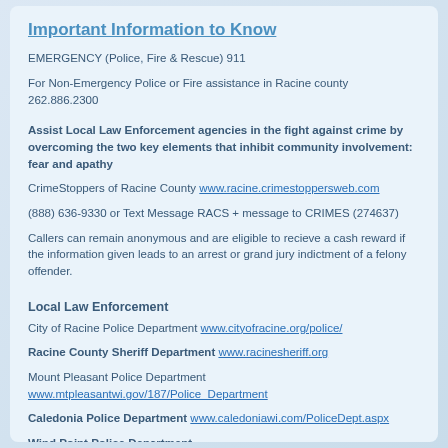Important Information to Know
EMERGENCY (Police, Fire & Rescue) 911
For Non-Emergency Police or Fire assistance in Racine county 262.886.2300
Assist Local Law Enforcement agencies in the fight against crime by overcoming the two key elements that inhibit community involvement: fear and apathy
CrimeStoppers of Racine County www.racine.crimestoppersweb.com
(888) 636-9330 or Text Message RACS + message to CRIMES (274637)
Callers can remain anonymous and are eligible to recieve a cash reward if the information given leads to an arrest or grand jury indictment of a felony offender.
Local Law Enforcement
City of Racine Police Department www.cityofracine.org/police/
Racine County Sheriff Department www.racinesheriff.org
Mount Pleasant Police Department www.mtpleasantwi.gov/187/Police_Department
Caledonia Police Department www.caledoniawi.com/PoliceDept.aspx
Wind Point Police Department www.windpointwi.us/village-services/wind-point-police-department/